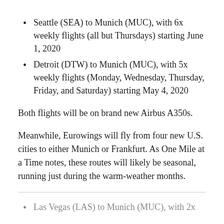Seattle (SEA) to Munich (MUC), with 6x weekly flights (all but Thursdays) starting June 1, 2020
Detroit (DTW) to Munich (MUC), with 5x weekly flights (Monday, Wednesday, Thursday, Friday, and Saturday) starting May 4, 2020
Both flights will be on brand new Airbus A350s.
Meanwhile, Eurowings will fly from four new U.S. cities to either Munich or Frankfurt. As One Mile at a Time notes, these routes will likely be seasonal, running just during the warm-weather months.
Las Vegas (LAS) to Munich (MUC), with 2x